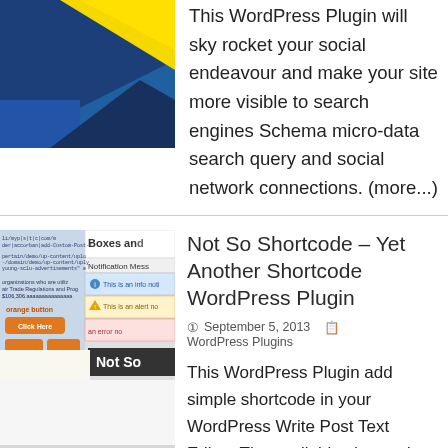[Figure (illustration): Partial image with yellow and blue geometric design, cropped at top-left]
This WordPress Plugin will sky rocket your social endeavour and make your site more visible to search engines Schema micro-data search query and social network connections. (more...)
[Figure (screenshot): Screenshot showing 'Boxes and...' plugin UI with notification messages including info and alert notifications, orange buttons labeled 'Click Here', and 'Not So' text overlay]
Not So Shortcode – Yet Another Shortcode WordPress Plugin
September 5, 2013   WordPress Plugins
This WordPress Plugin add simple shortcode in your WordPress Write Post Text Editor. The available shortcodes include